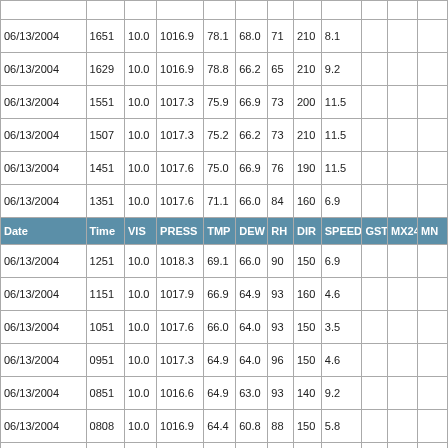| Date | Time | VIS | PRESS | TMP | DEW | RH | DIR | SPEED | GST | MX24 | MN |
| --- | --- | --- | --- | --- | --- | --- | --- | --- | --- | --- | --- |
| 06/13/2004 | 1651 | 10.0 | 1016.9 | 78.1 | 68.0 | 71 | 210 | 8.1 |  |  |  |
| 06/13/2004 | 1629 | 10.0 | 1016.9 | 78.8 | 66.2 | 65 | 210 | 9.2 |  |  |  |
| 06/13/2004 | 1551 | 10.0 | 1017.3 | 75.9 | 66.9 | 73 | 200 | 11.5 |  |  |  |
| 06/13/2004 | 1507 | 10.0 | 1017.3 | 75.2 | 66.2 | 73 | 210 | 11.5 |  |  |  |
| 06/13/2004 | 1451 | 10.0 | 1017.6 | 75.0 | 66.9 | 76 | 190 | 11.5 |  |  |  |
| 06/13/2004 | 1351 | 10.0 | 1017.6 | 71.1 | 66.0 | 84 | 160 | 6.9 |  |  |  |
| 06/13/2004 | 1251 | 10.0 | 1018.3 | 69.1 | 66.0 | 90 | 150 | 6.9 |  |  |  |
| 06/13/2004 | 1151 | 10.0 | 1017.9 | 66.9 | 64.9 | 93 | 160 | 4.6 |  |  |  |
| 06/13/2004 | 1051 | 10.0 | 1017.6 | 66.0 | 64.0 | 93 | 150 | 3.5 |  |  |  |
| 06/13/2004 | 0951 | 10.0 | 1017.3 | 64.9 | 64.0 | 96 | 150 | 4.6 |  |  |  |
| 06/13/2004 | 0851 | 10.0 | 1016.6 | 64.9 | 63.0 | 93 | 140 | 9.2 |  |  |  |
| 06/13/2004 | 0808 | 10.0 | 1016.9 | 64.4 | 60.8 | 88 | 150 | 5.8 |  |  |  |
| 06/13/2004 | 0751 | 10.0 | 1016.9 | 64.9 | 61.0 | 87 | 140 | 5.8 |  |  |  |